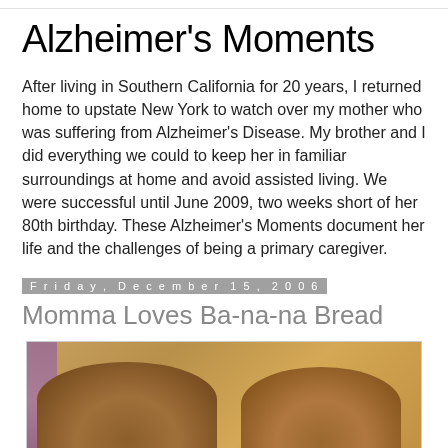Alzheimer's Moments
After living in Southern California for 20 years, I returned home to upstate New York to watch over my mother who was suffering from Alzheimer's Disease. My brother and I did everything we could to keep her in familiar surroundings at home and avoid assisted living. We were successful until June 2009, two weeks short of her 80th birthday. These Alzheimer's Moments document her life and the challenges of being a primary caregiver.
Friday, December 15, 2006
Momma Loves Ba-na-na Bread
[Figure (photo): Photo of two loaves/slices of banana bread on a surface, with a purple decorative element on the left side]